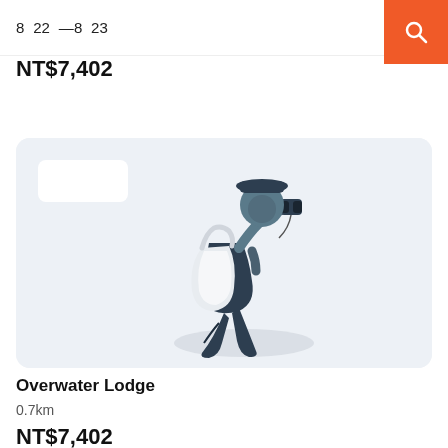8  22  — 8  23    👥 2
NT$7,402
[Figure (illustration): Illustration of a traveler kneeling with a large backpack, looking through binoculars, on a light blue-grey background card.]
Overwater Lodge
0.7km
NT$7,402